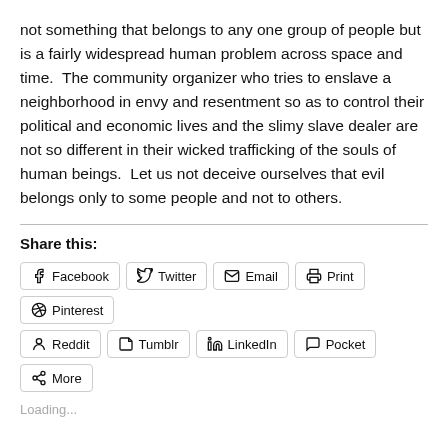not something that belongs to any one group of people but is a fairly widespread human problem across space and time.  The community organizer who tries to enslave a neighborhood in envy and resentment so as to control their political and economic lives and the slimy slave dealer are not so different in their wicked trafficking of the souls of human beings.  Let us not deceive ourselves that evil belongs only to some people and not to others.
Share this:
Facebook | Twitter | Email | Print | Pinterest | Reddit | Tumblr | LinkedIn | Pocket | More
Loading...